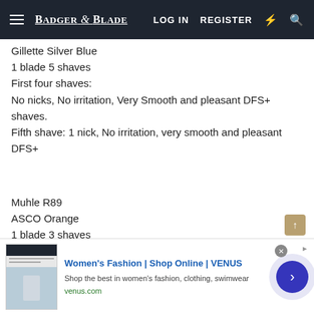Badger & Blade | LOG IN | REGISTER
Gillette Silver Blue
1 blade 5 shaves
First four shaves:
No nicks, No irritation, Very Smooth and pleasant DFS+ shaves.
Fifth shave: 1 nick, No irritation, very smooth and pleasant DFS+
Muhle R89
ASCO Orange
1 blade 3 shaves
No nicks, No irritation, very close, very smooth and pleasant DFS shaves.
[Figure (screenshot): Advertisement banner for VENUS women's fashion with thumbnail image, title 'Women's Fashion | Shop Online | VENUS', description text, venus.com URL, and a blue circular arrow button.]